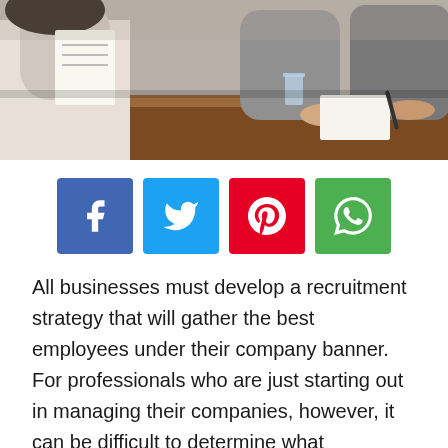[Figure (photo): Photo of people sitting at a wooden table during a job interview, with papers and a glass of water visible]
[Figure (infographic): Row of four social media share buttons: Facebook (blue), Twitter (light blue), Pinterest (red), WhatsApp (green)]
All businesses must develop a recruitment strategy that will gather the best employees under their company banner. For professionals who are just starting out in managing their companies, however, it can be difficult to determine what recruitment strategies will work best. Because interviews are so paramount to the recruitment process, it can be a good idea to outline your interview strategy after determining what you are looking for in a recruit.